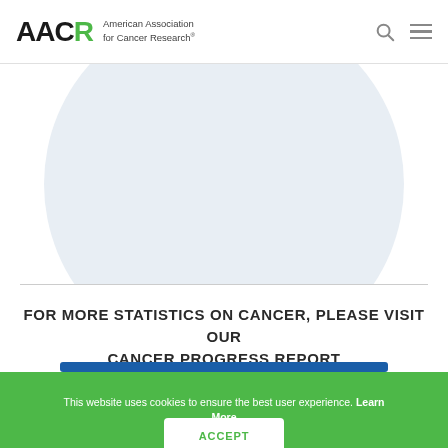AACR American Association for Cancer Research
[Figure (illustration): Partial circle/sphere graphic with light blue-gray fill, cropped at the top, centered on the page]
FOR MORE STATISTICS ON CANCER, PLEASE VISIT OUR CANCER PROGRESS REPORT
This website uses cookies to ensure the best user experience. Learn More
ACCEPT